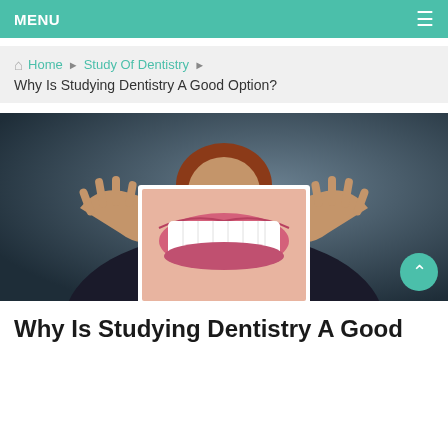MENU
Home ▶ Study Of Dentistry ▶ Why Is Studying Dentistry A Good Option?
[Figure (photo): Person in dark blazer holding up a photo of a large smiling mouth with white teeth in front of their face, set against a dark blue-grey background.]
Why Is Studying Dentistry A Good